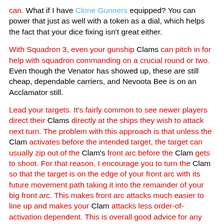can.  What if I have Clone Gunners equipped?  You can power that just as well with a token as a dial, which helps the fact that your dice fixing isn't great either.
With Squadron 3, even your gunship Clams can pitch in for help with squadron commanding on a crucial round or two. Even though the Venator has showed up, these are still cheap, dependable carriers, and Nevoota Bee is on an Acclamator still.
Lead your targets. It's fairly common to see newer players direct their Clams directly at the ships they wish to attack next turn. The problem with this approach is that unless the Clam activates before the intended target, the target can usually zip out of the Clam's front arc before the Clam gets to shoot. For that reason, I encourage you to turn the Clam so that the target is on the edge of your front arc with its future movement path taking it into the remainder of your big front arc. This makes front arc attacks much easier to line up and makes your Clam attacks less order-of-activation dependent. This is overall good advice for any front arc attack ship, but for something less maneuverable